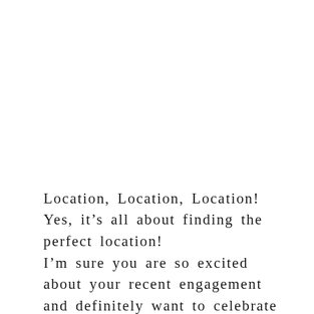Location, Location, Location! Yes, it's all about finding the perfect location!
I'm sure you are so excited about your recent engagement and definitely want to celebrate with your closest family and